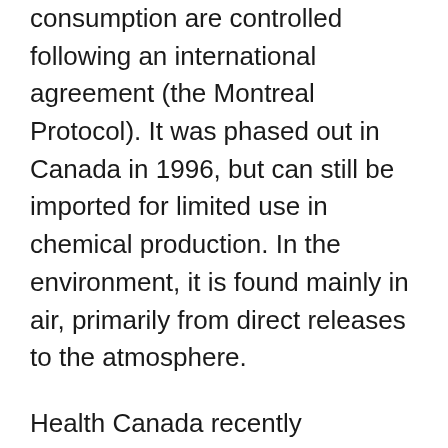consumption are controlled following an international agreement (the Montreal Protocol). It was phased out in Canada in 1996, but can still be imported for limited use in chemical production. In the environment, it is found mainly in air, primarily from direct releases to the atmosphere.
Health Canada recently completed its review of the health risks associated with carbon tetrachloride in drinking water. This Guideline Technical Document reviews and assesses all identified health risks associated with carbon tetrachloride in drinking water, incorporating multiple routes of exposure